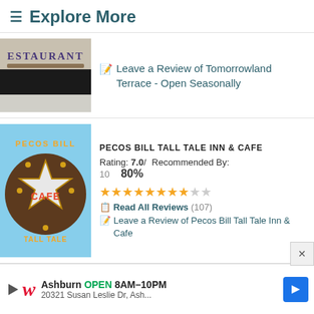≡ Explore More
[Figure (photo): Restaurant sign photo showing partial text 'ESTAURANT']
✎ Leave a Review of Tomorrowland Terrace - Open Seasonally
[Figure (photo): Pecos Bill Cafe star-shaped sign with text 'PECOS BILL' and 'CAFE' and 'TALL TALE']
PECOS BILL TALL TALE INN & CAFE
Rating: 7.0 / Recommended By: 10   80%
★★★★★★★★☆☆ (8 filled stars, 2 empty)
📋 Read All Reviews (107)
✎ Leave a Review of Pecos Bill Tall Tale Inn & Cafe
[Figure (photo): Sleepy Hollow Liberty Square building exterior photo]
SLEEPY HOLLOW - LIBERTY SQUARE
Ashburn OPEN 8AM–10PM 20321 Susan Leslie Dr, Ash... (Walgreens advertisement)